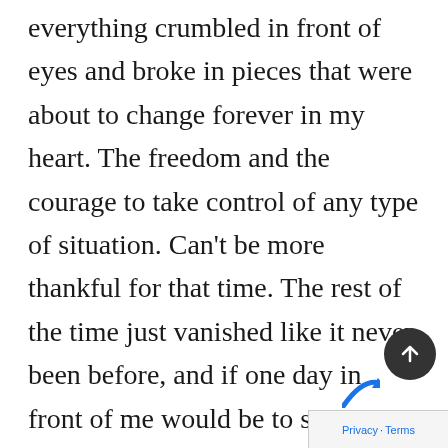everything crumbled in front of eyes and broke in pieces that were about to change forever in my heart. The freedom and the courage to take control of any type of situation. Can't be more thankful for that time. The rest of the time just vanished like it never been before, and if one day in front of me would be to see, I would just match a ghost that disappears and was never meant to be. The choice was made already.

Last, was what broke me the most and put